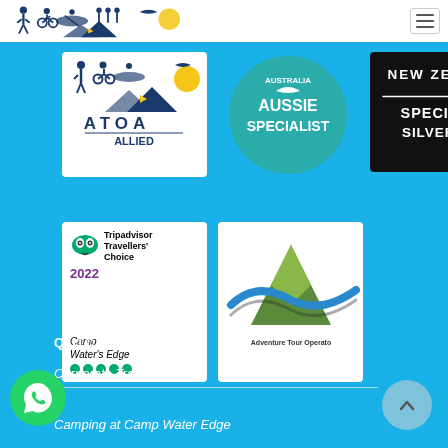Camp Water's Edge navigation header
[Figure (logo): ATOA Allied member logo - white background with silhouettes of outdoor activities and triangle shapes]
[Figure (logo): Australia Aussie Specialist circular teal badge logo]
[Figure (logo): New Zealand Specialist Silver 2018 black badge logo]
[Figure (logo): Tripadvisor Travellers Choice 2022 badge - Camp Water's Edge with 5 green dots]
[Figure (logo): Adventure Tour Operator logo with mountain and swoosh design]
QUICK LINKS
Corporate Training
Camping at Camp Water Edge